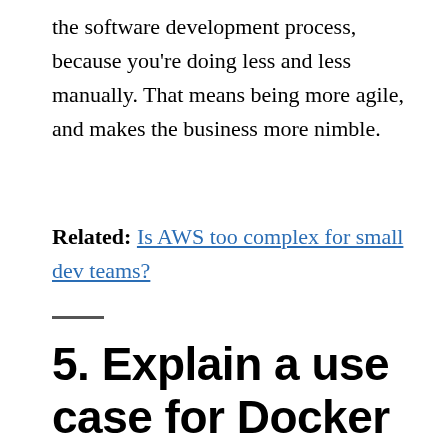the software development process, because you're doing less and less manually. That means being more agile, and makes the business more nimble.
Related: Is AWS too complex for small dev teams?
5. Explain a use case for Docker